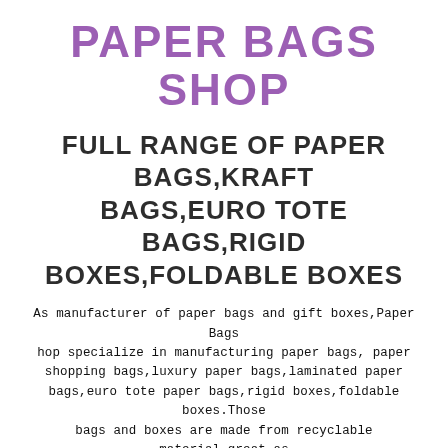PAPER BAGS SHOP
FULL RANGE OF PAPER BAGS,KRAFT BAGS,EURO TOTE BAGS,RIGID BOXES,FOLDABLE BOXES
As manufacturer of paper bags and gift boxes,Paper Bags Shop specialize in manufacturing paper bags, paper shopping bags,luxury paper bags,laminated paper bags,euro tote paper bags,rigid boxes,foldable boxes.Those bags and boxes are made from recyclable material,great as eco friendly retail packaging and gift packaging products.We can print custom logo and image on bags and boxes.With custom printing,quality paper bags,rigid boxes and foldable boxes can meet your demand at retail packaging, as well as represent your business and products the best.Our blog is for our new product information.